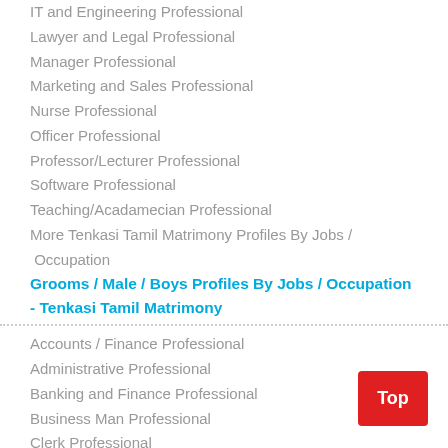IT and Engineering Professional
Lawyer and Legal Professional
Manager Professional
Marketing and Sales Professional
Nurse Professional
Officer Professional
Professor/Lecturer Professional
Software Professional
Teaching/Acadamecian Professional
More Tenkasi Tamil Matrimony Profiles By Jobs / Occupation
Grooms / Male / Boys Profiles By Jobs / Occupation - Tenkasi Tamil Matrimony
Accounts / Finance Professional
Administrative Professional
Banking and Finance Professional
Business Man Professional
Clerk Professional
Customer Care Professional
Doctor Professional
Education Professional